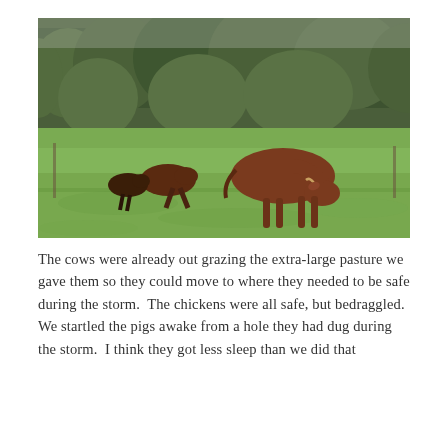[Figure (photo): Photograph of brown cows grazing on a green pasture field. One large cow is in the foreground grazing with head down, and two smaller cattle are visible in the background. Dense green trees line the background.]
The cows were already out grazing the extra-large pasture we gave them so they could move to where they needed to be safe during the storm.  The chickens were all safe, but bedraggled.  We startled the pigs awake from a hole they had dug during the storm.  I think they got less sleep than we did that